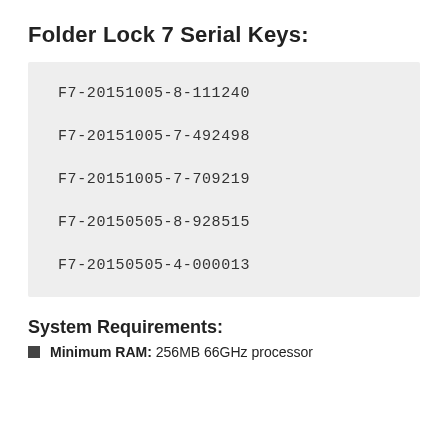Folder Lock 7 Serial Keys:
F7-20151005-8-111240
F7-20151005-7-492498
F7-20151005-7-709219
F7-20150505-8-928515
F7-20150505-4-000013
System Requirements:
Minimum RAM: 256MB 66GHz processor